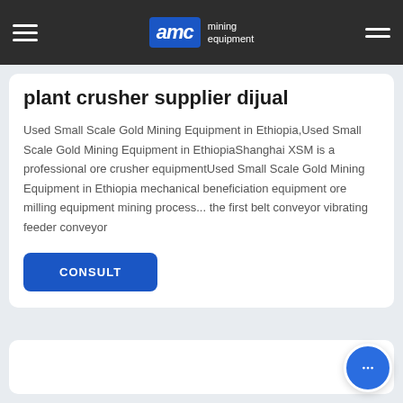AMC mining equipment
plant crusher supplier dijual
Used Small Scale Gold Mining Equipment in Ethiopia,Used Small Scale Gold Mining Equipment in EthiopiaShanghai XSM is a professional ore crusher equipmentUsed Small Scale Gold Mining Equipment in Ethiopia mechanical beneficiation equipment ore milling equipment mining process... the first belt conveyor vibrating feeder conveyor